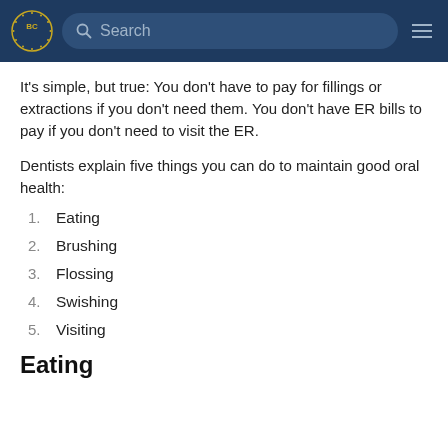BC [logo] Search [hamburger menu]
It’s simple, but true: You don’t have to pay for fillings or extractions if you don’t need them. You don’t have ER bills to pay if you don’t need to visit the ER.
Dentists explain five things you can do to maintain good oral health:
1. Eating
2. Brushing
3. Flossing
4. Swishing
5. Visiting
Eating